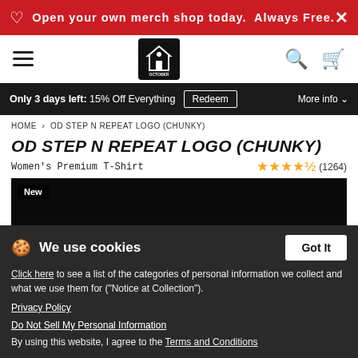Open your own merch shop today. Always Free.
[Figure (logo): October merch store logo - house icon with 'OCTOBER' text on black background]
Only 3 days left: 15% Off Everything  Redeem  More info
HOME > OD STEP N REPEAT LOGO (CHUNKY)
OD STEP N REPEAT LOGO (CHUNKY)
Women's Premium T-Shirt  ★★★★½ (1264)
[Figure (photo): Woman with blonde hair wearing a dark green t-shirt photographed against a black background, partial face visible. Badge 'New' in top left corner.]
We use cookies
Click here to see a list of the categories of personal information we collect and what we use them for ("Notice at Collection").
Privacy Policy
Do Not Sell My Personal Information
By using this website, I agree to the Terms and Conditions